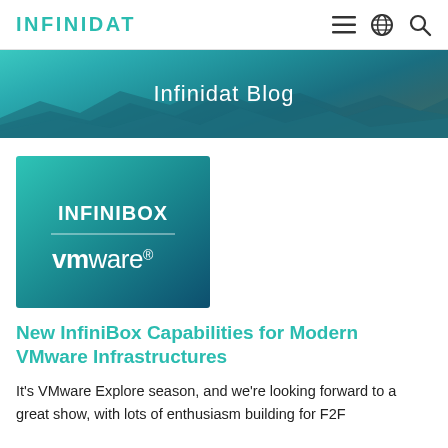INFINIDAT
Infinidat Blog
[Figure (logo): InfiniBox and VMware logo card — teal gradient background with INFINIBOX text, horizontal rule, and vmware wordmark]
New InfiniBox Capabilities for Modern VMware Infrastructures
It's VMware Explore season, and we're looking forward to a great show, with lots of enthusiasm building for F2F